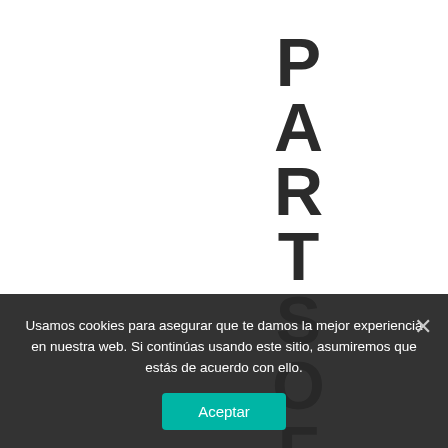PARTSOFTH...
Usamos cookies para asegurar que te damos la mejor experiencia en nuestra web. Si continúas usando este sitio, asumiremos que estás de acuerdo con ello.